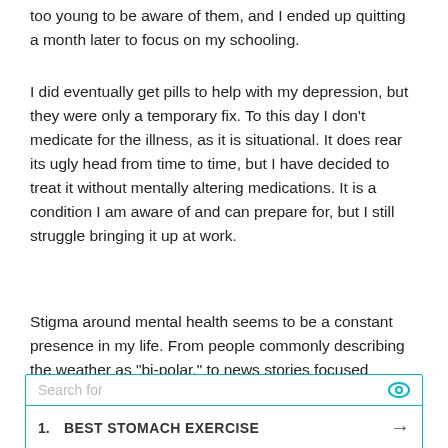too young to be aware of them, and I ended up quitting a month later to focus on my schooling.
I did eventually get pills to help with my depression, but they were only a temporary fix. To this day I don't medicate for the illness, as it is situational. It does rear its ugly head from time to time, but I have decided to treat it without mentally altering medications. It is a condition I am aware of and can prepare for, but I still struggle bringing it up at work.
Stigma around mental health seems to be a constant presence in my life. From people commonly describing the weather as "bi-polar," to news stories focused around another mass shooting and the role that mental health plays in gun rights; I can never seem to escape
[Figure (screenshot): Search widget with placeholder text 'Search for' and a teal eye icon, followed by two search result items: 1. BEST STOMACH EXERCISE with arrow, 2. FREE MARRIAGE RECORDS with arrow, and a teal play icon at the bottom right.]